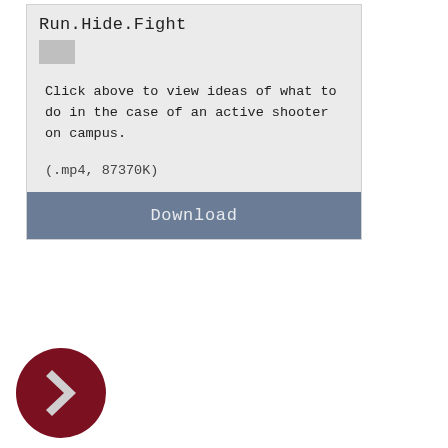Run.Hide.Fight
Click above to view ideas of what to do in the case of an active shooter on campus.
(.mp4, 87370K)
Download
[Figure (illustration): Dark red circular navigation arrow button pointing right]